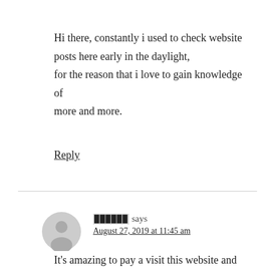Hi there, constantly i used to check website posts here early in the daylight, for the reason that i love to gain knowledge of more and more.
Reply
█████ says
August 27, 2019 at 11:45 am
It's amazing to pay a visit this website and